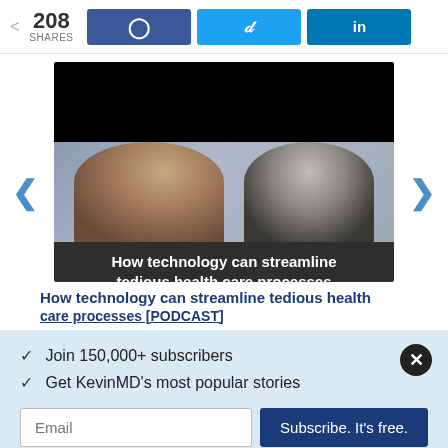208 SHARES | Facebook | Twitter | LinkedIn
[Figure (screenshot): Video thumbnail showing two people (a woman and a man) with text overlay: 'How technology can streamline tedious health care processes']
How technology can streamline tedious health care processes [PODCAST]
✓ Join 150,000+ subscribers
✓ Get KevinMD's most popular stories
Email | Subscribe. It's free.